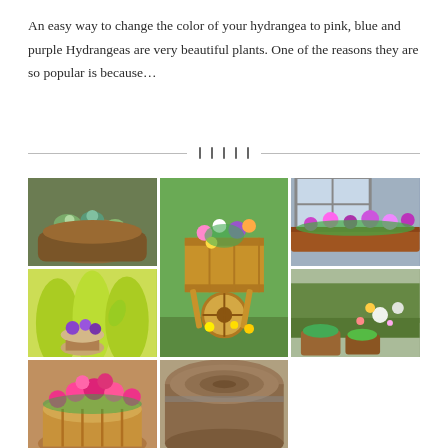An easy way to change the color of your hydrangea to pink, blue and purple Hydrangeas are very beautiful plants. One of the reasons they are so popular is because…
[Figure (illustration): Horizontal divider with five small vertical bar icons in the center]
[Figure (photo): Grid of 5 garden photos showing various flower planters and arrangements including succulents in a log, a wooden wheelbarrow with colorful flowers, window boxes with purple flowers, yellow ferns with purple flowers on wooden spool, and pink flowers in a wooden planter]